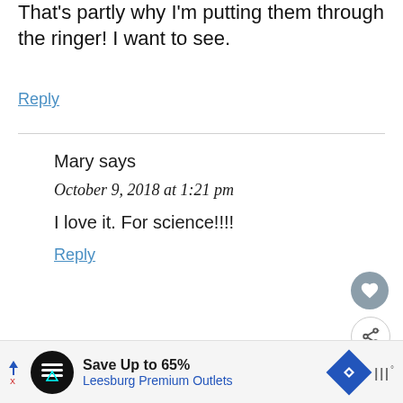That's partly why I'm putting them through the ringer! I want to see.
Reply
Mary says
October 9, 2018 at 1:21 pm
I love it. For science!!!!
Reply
WHAT'S NEXT → New Finds aka Things Wort...
Save Up to 65% Leesburg Premium Outlets